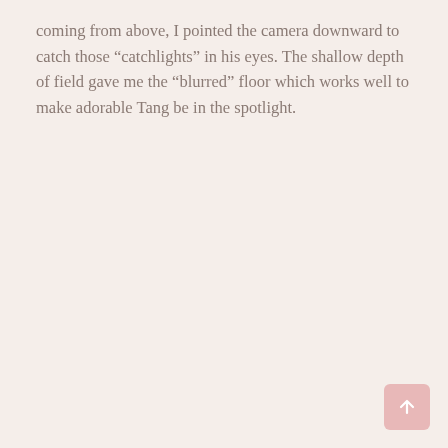coming from above, I pointed the camera downward to catch those “catchlights” in his eyes. The shallow depth of field gave me the “blurred” floor which works well to make adorable Tang be in the spotlight.
[Figure (other): Back to top button arrow icon in bottom right corner]